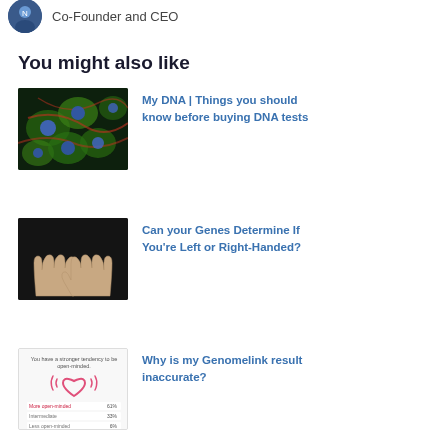[Figure (photo): Avatar photo of Co-Founder and CEO with circular profile picture]
Co-Founder and CEO
You might also like
[Figure (photo): Fluorescence microscopy image of cells with green cytoskeleton, red filaments, and blue nuclei]
My DNA | Things you should know before buying DNA tests
[Figure (photo): Two hands shown palms-up against a dark background]
Can your Genes Determine If You're Left or Right-Handed?
[Figure (screenshot): Genomelink result screenshot showing open-mindedness trait with heart icon and percentages: More open-minded 61%, Intermediate 33%, Less open-minded 6%]
Why is my Genomelink result inaccurate?